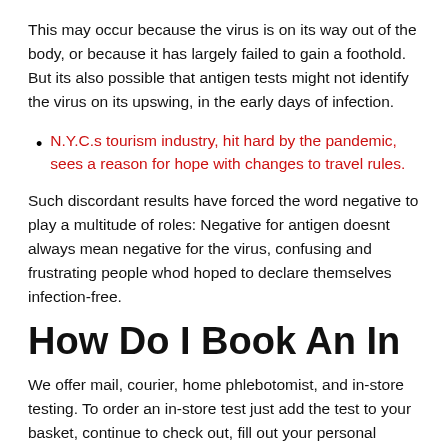This may occur because the virus is on its way out of the body, or because it has largely failed to gain a foothold. But its also possible that antigen tests might not identify the virus on its upswing, in the early days of infection.
N.Y.C.s tourism industry, hit hard by the pandemic, sees a reason for hope with changes to travel rules.
Such discordant results have forced the word negative to play a multitude of roles: Negative for antigen doesnt always mean negative for the virus, confusing and frustrating people whod hoped to declare themselves infection-free.
How Do I Book An In
We offer mail, courier, home phlebotomist, and in-store testing. To order an in-store test just add the test to your basket, continue to check out, fill out your personal details,